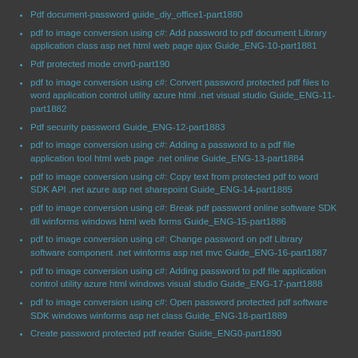Pdf document-password guide_diy_office1-part1880
pdf to image conversion using c#: Add password to pdf document Library application class asp net html web page ajax Guide_ENG-10-part1881
Pdf protected mode cnvr0-part190
pdf to image conversion using c#: Convert password protected pdf files to word application control utility azure html .net visual studio Guide_ENG-11-part1882
Pdf security password Guide_ENG-12-part1883
pdf to image conversion using c#: Adding a password to a pdf file application tool html web page .net online Guide_ENG-13-part1884
pdf to image conversion using c#: Copy text from protected pdf to word SDK API .net azure asp net sharepoint Guide_ENG-14-part1885
pdf to image conversion using c#: Break pdf password online software SDK dll winforms windows html web forms Guide_ENG-15-part1886
pdf to image conversion using c#: Change password on pdf Library software component .net winforms asp net mvc Guide_ENG-16-part1887
pdf to image conversion using c#: Adding password to pdf file application control utility azure html windows visual studio Guide_ENG-17-part1888
pdf to image conversion using c#: Open password protected pdf software SDK windows winforms asp net class Guide_ENG-18-part1889
Create password protected pdf reader Guide_ENG0-part1890